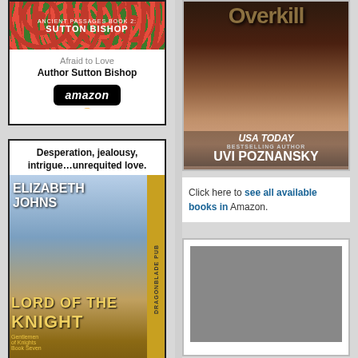[Figure (illustration): Book advertisement for 'Afraid to Love' by Sutton Bishop (Ancient Passages Book 2) showing red poppies field cover image]
Afraid to Love
Author Sutton Bishop
[Figure (logo): Amazon logo button in black rounded rectangle]
Desperation, jealousy, intrigue…unrequited love.
[Figure (illustration): Book cover for 'Lord of the Knight' by Elizabeth Johns, Gentlemen of Knights Book Seven, Dragonblade Publishing, showing a man in Napoleonic military uniform]
[Figure (illustration): Book cover for 'Overkill' by Uvi Poznansky, USA Today Bestselling Author, showing a frightened woman's face in dark tones]
Click here to see all available books in Amazon.
[Figure (illustration): Partial book advertisement at bottom right, mostly obscured]